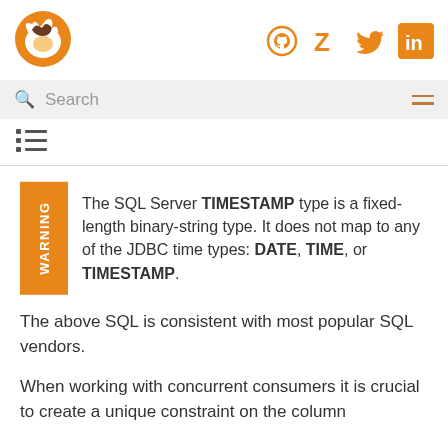[Figure (logo): Orange fox/squirrel logo for a documentation website]
[Figure (infographic): Social media icons: GitHub, Zulip, Twitter, LinkedIn in orange]
Search
[Figure (infographic): Hamburger menu icon with two orange lines]
[Figure (infographic): Table of contents icon with bullet list lines]
WARNING: The SQL Server TIMESTAMP type is a fixed-length binary-string type. It does not map to any of the JDBC time types: DATE, TIME, or TIMESTAMP.
The above SQL is consistent with most popular SQL vendors.
When working with concurrent consumers it is crucial to create a unique constraint on the column